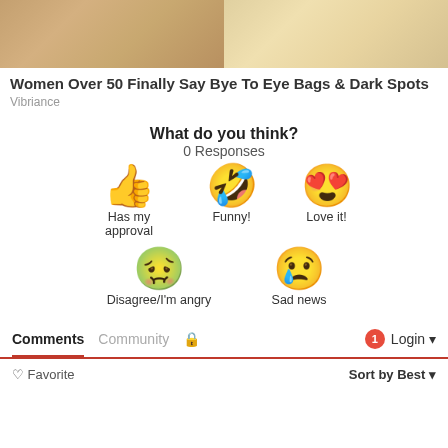[Figure (photo): Advertisement image showing close-up of facial skin, split into two panels]
Women Over 50 Finally Say Bye To Eye Bags & Dark Spots
Vibriance
What do you think?
0 Responses
Has my approval
Funny!
Love it!
Disagree/I'm angry
Sad news
Comments  Community  🔒  Login
❤ Favorite  Sort by Best